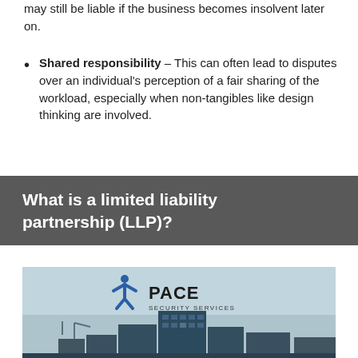may still be liable if the business becomes insolvent later on.
Shared responsibility – This can often lead to disputes over an individual's perception of a fair sharing of the workload, especially when non-tangibles like design thinking are involved.
What is a limited liability partnership (LLP)?
[Figure (logo): Pace Security Services logo above a photo of industrial/commercial buildings with a blue-tinted background]